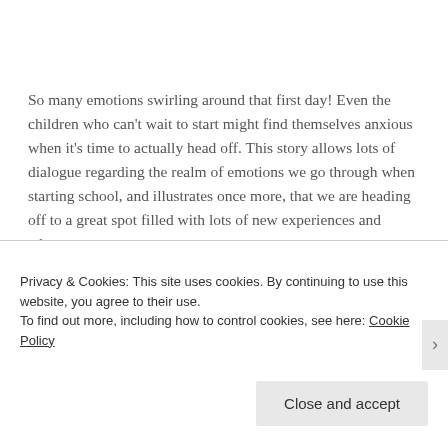So many emotions swirling around that first day! Even the children who can't wait to start might find themselves anxious when it's time to actually head off. This story allows lots of dialogue regarding the realm of emotions we go through when starting school, and illustrates once more, that we are heading off to a great spot filled with lots of new experiences and adventures.
[Figure (other): Partial thumbnail image of a book cover, partially obscured by cookie banner]
Privacy & Cookies: This site uses cookies. By continuing to use this website, you agree to their use.
To find out more, including how to control cookies, see here: Cookie Policy
Close and accept